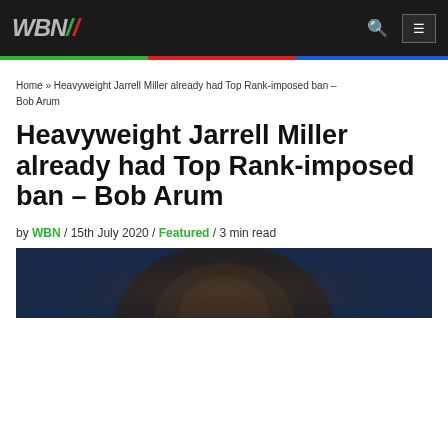WBN
Home » Heavyweight Jarrell Miller already had Top Rank-imposed ban – Bob Arum
Heavyweight Jarrell Miller already had Top Rank-imposed ban – Bob Arum
by WBN / 15th July 2020 / Featured / 3 min read
[Figure (photo): Close-up photo of a heavyweight boxer's face, dark blue-toned lighting]